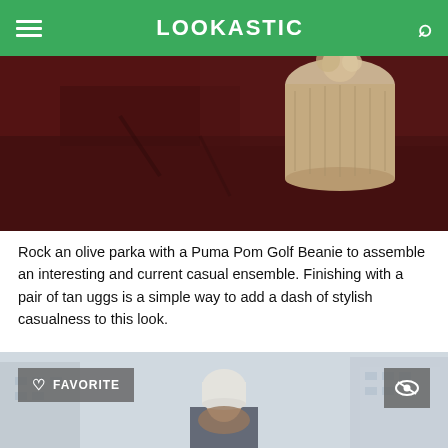LOOKASTIC
[Figure (photo): Close-up photo of a person holding a tan Puma Pom Golf Beanie against a dark reddish-brown textured wall background]
Rock an olive parka with a Puma Pom Golf Beanie to assemble an interesting and current casual ensemble. Finishing with a pair of tan uggs is a simple way to add a dash of stylish casualness to this look.
[Figure (photo): Street style photo of a woman in a white beanie and dark coat, standing in an urban street with blurred buildings in the background. Overlay buttons: FAVORITE (heart icon) on the left and an eye icon on the right.]